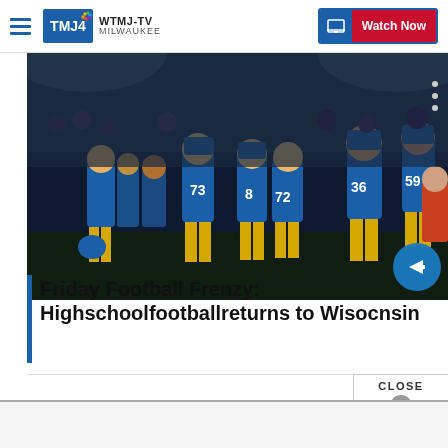WTMJ-TV MILWAUKEE | Watch Now
[Figure (photo): Football players in blue and yellow uniforms gathered on the field at night]
Friday Football Frenzy: Highschoolfootballreturns to Wisocnsin
CLOSE ×